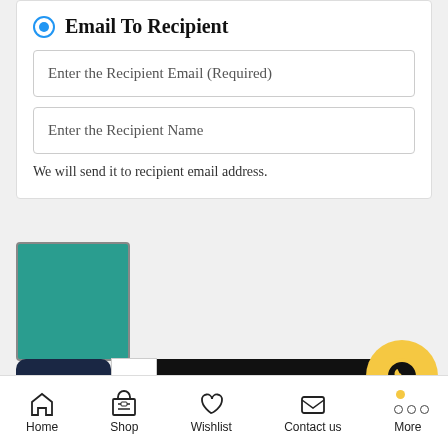Email To Recipient
Enter the Recipient Email (Required)
Enter the Recipient Name
We will send it to recipient email address.
[Figure (illustration): Teal/green square product preview image thumbnail]
Preview
[Figure (illustration): TRY A BOX! dark navy badge/sticker]
[Figure (illustration): ADD TO CART button — dark black button with cart icon]
[Figure (illustration): WhatsApp floating button — yellow circle with WhatsApp icon]
Home   Shop   Wishlist   Contact us   More